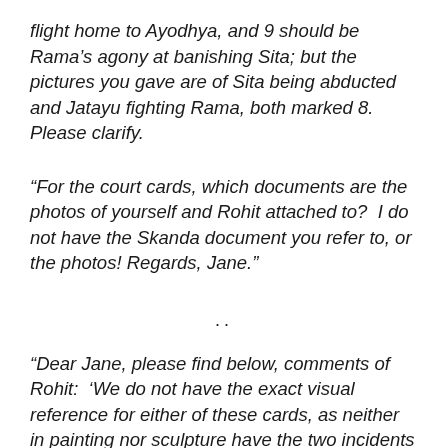flight home to Ayodhya, and 9 should be Rama’s agony at banishing Sita; but the pictures you gave are of Sita being abducted and Jatayu fighting Rama, both marked 8.  Please clarify.
“For the court cards, which documents are the photos of yourself and Rohit attached to?  I do not have the Skanda document you refer to, or the photos! Regards, Jane.”
..
“Dear Jane, please find below, comments of Rohit:  ‘We do not have the exact visual reference for either of these cards, as neither in painting nor sculpture have the two incidents been clearly depicted.  The two pictures marked 8 have been provided to convey the impression of flight.  They are just triggers for the events to be depicted in card